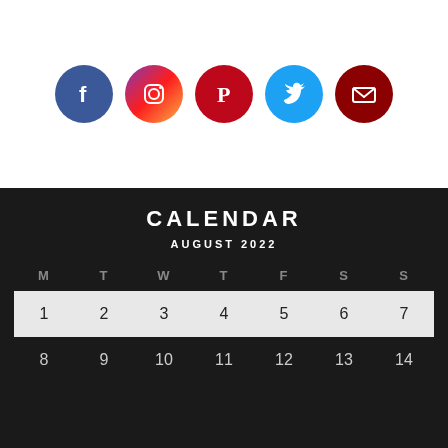[Figure (illustration): Five social media icons in circles: Facebook (blue), Instagram (gradient purple/orange), Pinterest (red), Twitter (cyan/blue), Email (dark red)]
CALENDAR
AUGUST 2022
| M | T | W | T | F | S | S |
| --- | --- | --- | --- | --- | --- | --- |
| 1 | 2 | 3 | 4 | 5 | 6 | 7 |
| 8 | 9 | 10 | 11 | 12 | 13 | 14 |